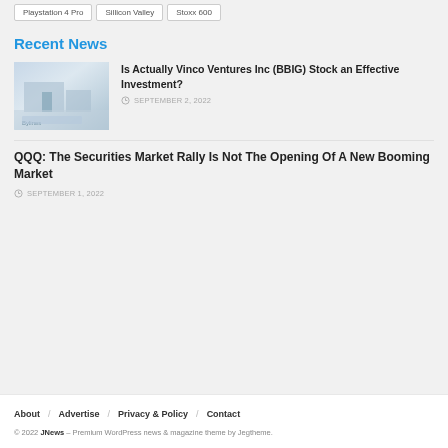Playstation 4 Pro
Sillicon Valley
Stoxx 600
Recent News
[Figure (photo): Thumbnail image of a building or architectural subject with blue-grey tones]
Is Actually Vinco Ventures Inc (BBIG) Stock an Effective Investment?
SEPTEMBER 2, 2022
QQQ: The Securities Market Rally Is Not The Opening Of A New Booming Market
SEPTEMBER 1, 2022
About / Advertise / Privacy & Policy / Contact © 2022 JNews – Premium WordPress news & magazine theme by Jegtheme.